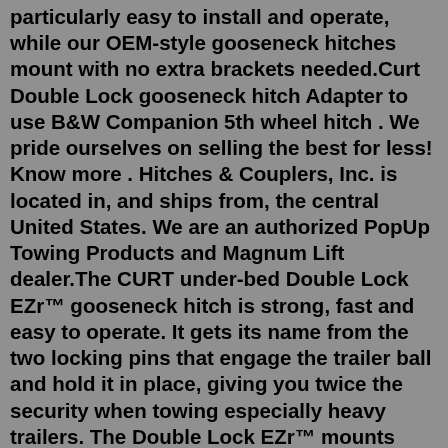particularly easy to install and operate, while our OEM-style gooseneck hitches mount with no extra brackets needed.Curt Double Lock gooseneck hitch Adapter to use B&W Companion 5th wheel hitch . We pride ourselves on selling the best for less! Know more . Hitches & Couplers, Inc. is located in, and ships from, the central United States. We are an authorized PopUp Towing Products and Magnum Lift dealer.The CURT under-bed Double Lock EZr™ gooseneck hitch is strong, fast and easy to operate. It gets its name from the two locking pins that engage the trailer ball and hold it in place, giving you twice the security when towing especially heavy trailers. The Double Lock EZr™ mounts underneath your truck bed with compatible gooseneck ...A Gooseneck Hitch is designed to handle the heavy tow load that accompanies a gooseneck trailer. Trailers of this sort typically come in the form of an RV or livestock trailer but can also include other large trailers such as flatbeds. Like a 5th wheel hitch, a gooseneck hitch